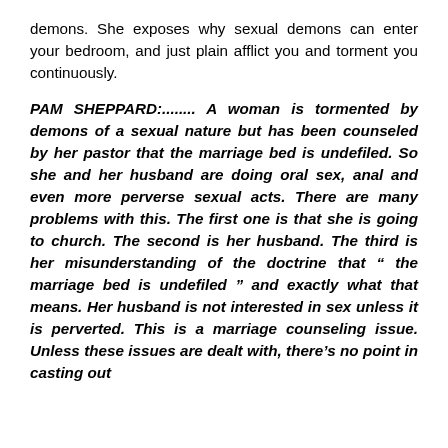demons. She exposes why sexual demons can enter your bedroom, and just plain afflict you and torment you continuously.
PAM SHEPPARD:........ A woman is tormented by demons of a sexual nature but has been counseled by her pastor that the marriage bed is undefiled. So she and her husband are doing oral sex, anal and even more perverse sexual acts. There are many problems with this. The first one is that she is going to church. The second is her husband. The third is her misunderstanding of the doctrine that " the marriage bed is undefiled " and exactly what that means. Her husband is not interested in sex unless it is perverted. This is a marriage counseling issue. Unless these issues are dealt with, there's no point in casting out demons.